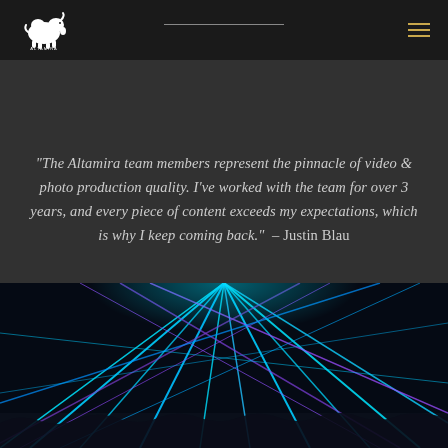[Figure (logo): Altamira logo — white bison/buffalo silhouette with small text underneath]
"The Altamira team members represent the pinnacle of video & photo production quality. I've worked with the team for over 3 years, and every piece of content exceeds my expectations, which is why I keep coming back."  – Justin Blau
[Figure (photo): Concert venue with dramatic blue and purple laser light beams crossing in multiple directions against a dark background]